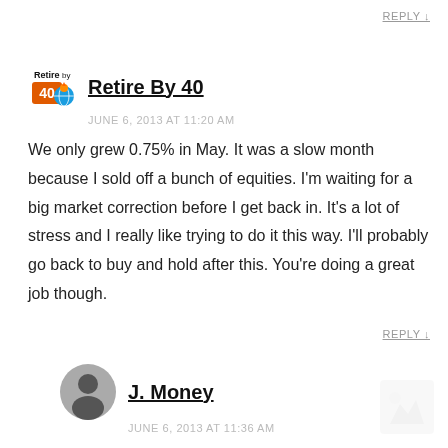REPLY ↓
Retire By 40
JUNE 6, 2013 AT 11:20 AM
We only grew 0.75% in May. It was a slow month because I sold off a bunch of equities. I'm waiting for a big market correction before I get back in. It's a lot of stress and I really like trying to do it this way. I'll probably go back to buy and hold after this. You're doing a great job though.
REPLY ↓
J. Money
JUNE 6, 2013 AT 11:36 AM